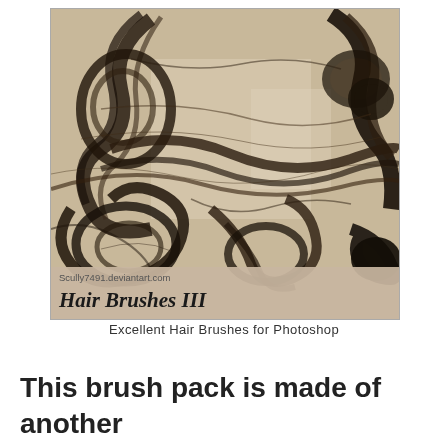[Figure (photo): A sepia-toned/monochrome photograph showing tangled, curly hair clippings scattered on a light background. The image shows dark brown wavy and curly hair strands spread across the frame. Below the photo within the image frame is a label reading 'Scully7491.deviantart.com' and 'Hair Brushes III' in italic bold text.]
Excellent Hair Brushes for Photoshop
This brush pack is made of another